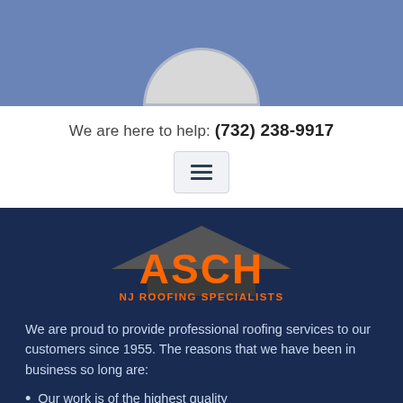[Figure (illustration): Top blue banner section with a circular gray/white shape (avatar placeholder) at the bottom center]
We are here to help: (732) 238-9917
[Figure (other): Hamburger menu icon button with three horizontal lines]
[Figure (logo): ASCH NJ Roofing Specialists logo — orange bold text 'ASCH' with a dark gray roof/house silhouette behind it, and orange text 'NJ ROOFING SPECIALISTS' below, on dark navy background]
We are proud to provide professional roofing services to our customers since 1955. The reasons that we have been in business so long are:
Our work is of the highest quality
We have great customer service